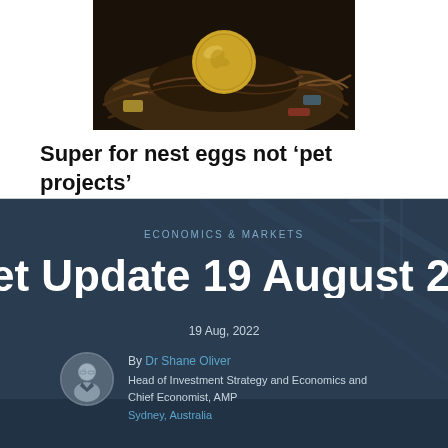[Figure (photo): A bird's nest containing a gold coin (Australian dollar), photographed from above on a dark background, representing superannuation nest egg savings.]
Super for nest eggs not 'pet projects'
[Figure (screenshot): Dark blue banner card for an AMP Economics & Markets article titled 'Market Update 19 August 2' dated 19 Aug, 2022, authored by Dr Shane Oliver, Head of Investment Strategy and Economics and Chief Economist, AMP, Sydney, Australia. Background shows a bridge structure.]
ECONOMICS & MARKETS
et Update 19 August 2
19 Aug, 2022
By Dr Shane Oliver
Head of Investment Strategy and Economics and Chief Economist, AMP
Sydney, Australia